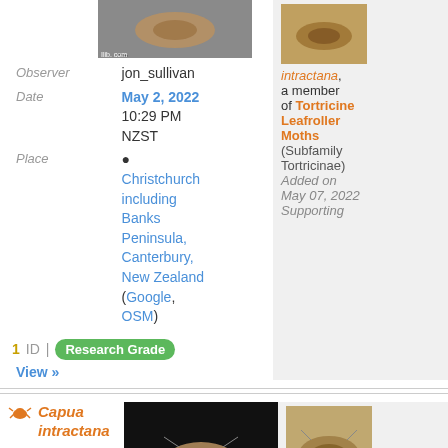[Figure (photo): Thumbnail photo of a moth (top left area), brownish color on dark background]
Observer jon_sullivan
Date May 2, 2022 10:29 PM NZST
Place Christchurch including Banks Peninsula, Canterbury, New Zealand (Google, OSM)
[Figure (photo): Thumbnail photo of moth (top right area), brownish color]
intractana, a member of Tortricine Leafroller Moths (Subfamily Tortricinae) Added on May 07, 2022 Supporting
1 ID | Research Grade
View »
[Figure (photo): Moth species icon - bee/moth illustration in orange]
Capua intractana
[Figure (photo): Thumbnail photo of moth on black background]
Observer jon_sullivan
[Figure (photo): Thumbnail photo of moth (brownish) in bottom right panel]
bythepark's ID: Capua intractana, a member of